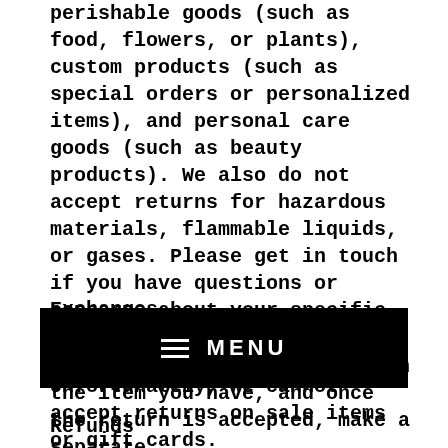perishable goods (such as food, flowers, or plants), custom products (such as special orders or personalized items), and personal care goods (such as beauty products). We also do not accept returns for hazardous materials, flammable liquids, or gases. Please get in touch if you have questions or concerns about your specific item.
Unfortunately, we cannot accept returns on sale items or gift cards.
Exchanges
The fastest way to ensure you get what you want is to return the item you have, and once the return is accepted, make a separate
[Figure (other): Black navigation menu bar with hamburger icon and MENU text in white]
Refunds